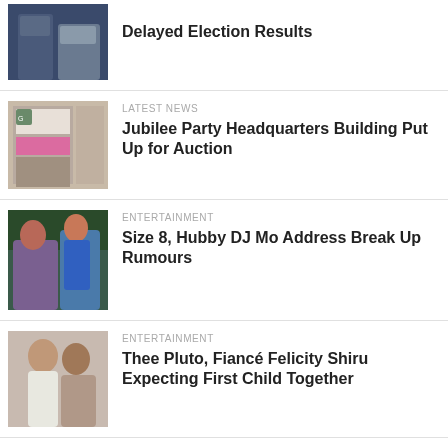[Figure (photo): Two men in suits, partial image, top cropped]
Delayed Election Results
[Figure (photo): Building with Girard sign and pink poster]
LATEST NEWS
Jubilee Party Headquarters Building Put Up for Auction
[Figure (photo): Couple, woman in blue dress, man beside her]
ENTERTAINMENT
Size 8, Hubby DJ Mo Address Break Up Rumours
[Figure (photo): Couple, woman in white dress, man beside her]
ENTERTAINMENT
Thee Pluto, Fiancé Felicity Shiru Expecting First Child Together
[Figure (photo): Man in suit, head shot]
LATEST NEWS
Githongo Now Admits 'Evidence' He Gave to